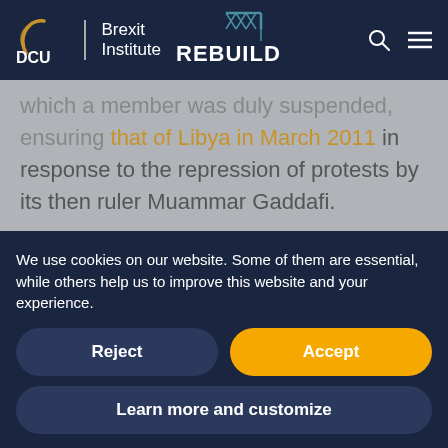DCU Brexit Institute | REBUILD
that of Libya in March 2011 in response to the repression of protests by its then ruler Muammar Gaddafi.
Both suspensions were adopted pursuant to resolution 60/251 establishing the HRC, which
We use cookies on our website. Some of them are essential, while others help us to improve this website and your experience.
Reject
Accept
Learn more and customize